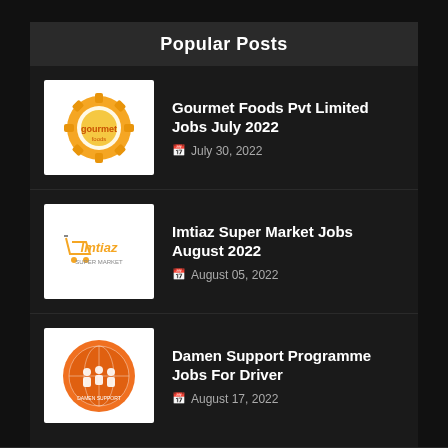Popular Posts
Gourmet Foods Pvt Limited Jobs July 2022 — July 30, 2022
Imtiaz Super Market Jobs August 2022 — August 05, 2022
Damen Support Programme Jobs For Driver — August 17, 2022
HOME | ABOUT | CONTACT US | PRIVACY POLICY | WHATS APP ALERTS | DISCLAIMER
Created By Blog | Distributed By Gooyaabi